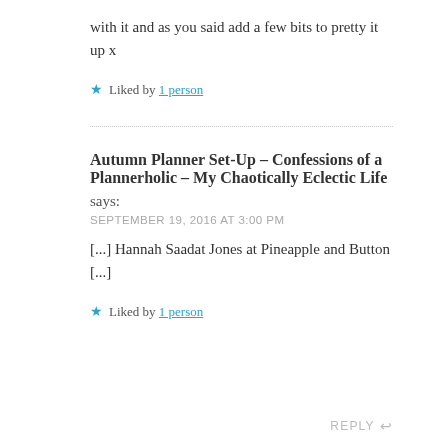with it and as you said add a few bits to pretty it up x
★ Liked by 1 person
Autumn Planner Set-Up – Confessions of a Plannerholic – My Chaotically Eclectic Life
says:
SEPTEMBER 19, 2016 AT 3:00 PM
[...] Hannah Saadat Jones at Pineapple and Button [...]
★ Liked by 1 person
REPLY ↩